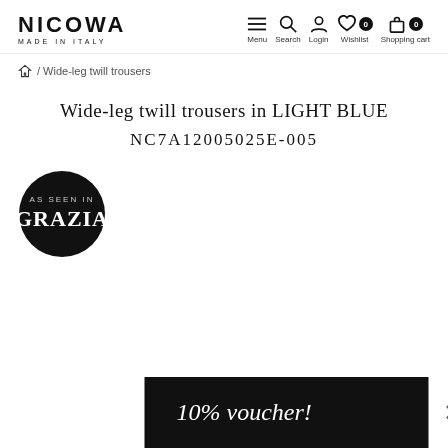NICOWA MADE IN ITALY | Menu Search Login Wishlist Shopping cart
/ Wide-leg twill trousers
Wide-leg twill trousers in LIGHT BLUE
NC7A12005025E-005
[Figure (logo): Black circular badge with text 'AS SEEN IN GRAZIA']
10% voucher!